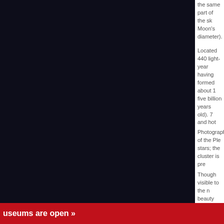[Figure (photo): Dark astronomical image, mostly black background representing night sky or space, left panel of the page layout]
the same part of the sky (and thus subtend the same angle as the Moon's diameter).
Located 440 light-years away and young (having formed about 1... five billion years old). The stars are large and hot and hence have... stars in an area 50 light... years the stars of the P... the cluster.
Photographs of the Ple... stars; the cluster is pre... that is illuminated by th...
Though visible to the n... beauty when seen thro... to admire the cluster's... understand why the Pl... sky.
Venus and Mars i
As for planets, Venus ... like a beacon high abo...
useums are open »